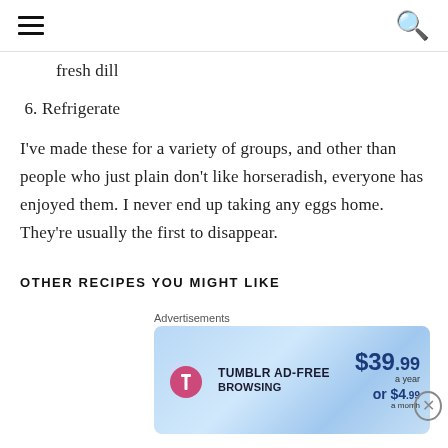≡  🔍
fresh dill
6. Refrigerate
I've made these for a variety of groups, and other than people who just plain don't like horseradish, everyone has enjoyed them. I never end up taking any eggs home. They're usually the first to disappear.
OTHER RECIPES YOU MIGHT LIKE
Like spicy? check out my recipe for sweet and
[Figure (screenshot): Tumblr Ad-Free Browsing advertisement banner: $39.99 a year or $4.99 a month]